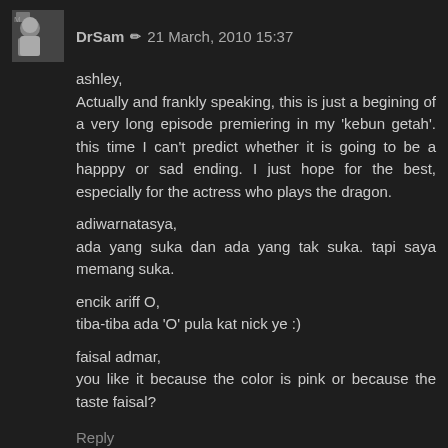DrSam ✏ 21 March, 2010 15:37
ashley,
Actually and frankly speaking, this is just a begining of a very long episode premiering in my 'kebun getah'. this time I can't predict whether it is going to be a happpy or sad ending. I just hope for the best, especially for the actress who plays the dragon.

adiwarnatasya,
ada yang suka dan ada yang tak suka. tapi saya memang suka.

encik ariff O,
tiba-tiba ada 'O' pula kat nick ye :)

faisal admar,
you like it because the color is pink or because the taste faisal?
Reply